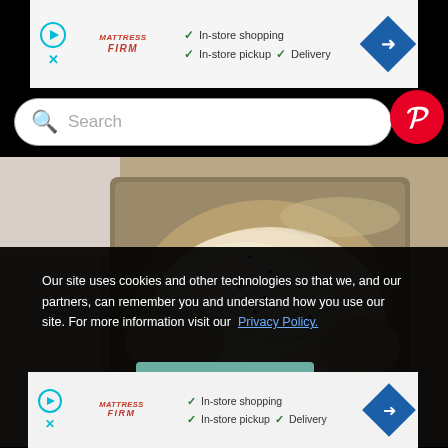[Figure (screenshot): Mattress Firm advertisement banner with play button, logo, checkmarks for In-store shopping, In-store pickup, Delivery, and navigation diamond icon]
[Figure (screenshot): Google search bar with search icon and placeholder text 'Search', with Pinterest red circular button on the right]
[Figure (photo): Overhead photo of raw seasoned chicken in a metal roasting pan with pepper and salt visible on the skin]
Our site uses cookies and other technologies so that we, and our partners, can remember you and understand how you use our site. For more information visit our Privacy Policy.
[Figure (screenshot): OK button in teal/muted green color for cookie consent]
[Figure (screenshot): Mattress Firm advertisement banner at bottom with play button, logo, checkmarks for In-store shopping, In-store pickup, Delivery, and navigation diamond icon]